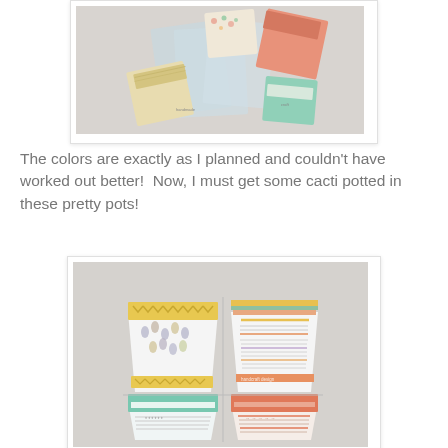[Figure (photo): Photo showing small fabric pouches/envelopes in various patterned fabrics (floral, chevron, mint, coral) arranged on a light grey surface along with clear plastic sleeves]
The colors are exactly as I planned and couldn't have worked out better!  Now, I must get some cacti potted in these pretty pots!
[Figure (photo): Photo showing four fabric pot/planter cozies laid flat on a grey surface — two on top (yellow chevron with feather pattern, multi-stripe with decorative elements) and two on bottom (mint/teal stripe, coral/salmon pattern)]